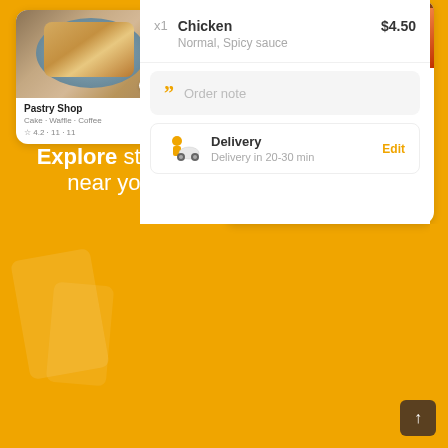[Figure (screenshot): Mobile app screenshot showing food delivery app left panel with a Pastry Shop card (waffle image, 35-45 min delivery, Cake Waffle Coffee, rating 4.2) and text 'Explore stores near you' with magnifier icon on orange background]
Explore stores near you
[Figure (screenshot): Mobile app screenshot showing right panel with chicken dish item detail: title 'Chicken', price '$5.50 $4.50', description 'The best chicken in town. To make it even more special, add your favorite sauce.', SIZE section with Required badge, Normal (selected) and Large (+$1.50) options]
Chicken
$5.50 $4.50
The best chicken in town. To make it even more special, add your favorite sauce.
SIZE
Required
Choose 1 option
Normal
Large
+ $1.50
x1   Chicken   $4.50
Normal, Spicy sauce
Order note
Delivery
Delivery in 20-30 min
Edit